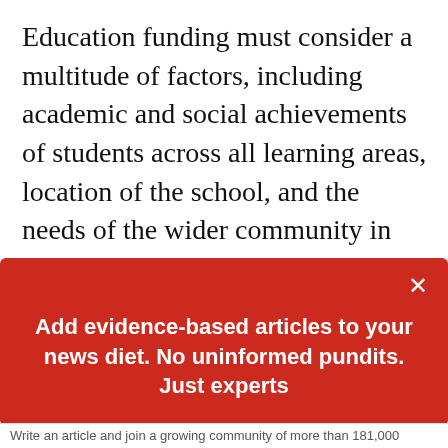Education funding must consider a multitude of factors, including academic and social achievements of students across all learning areas, location of the school, and the needs of the wider community in which the school operates. While NAPLAN data may provide one very small piece of the data puzzle used to allocate educational funding, it should never be used as the only
[Figure (other): Red modal popup overlay with white text: 'Add evidence-based articles to your news diet. No uninformed pundits. Just experts' and a button 'Get our newsletters'. An X close button is in the top right corner.]
Write an article and join a growing community of more than 181,000